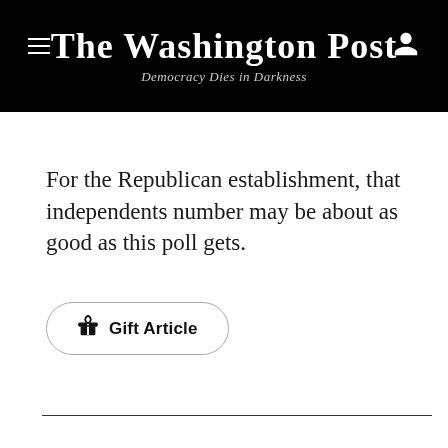The Washington Post
Democracy Dies in Darkness
For the Republican establishment, that independents number may be about as good as this poll gets.
[Figure (other): Gift Article button with gift box icon]